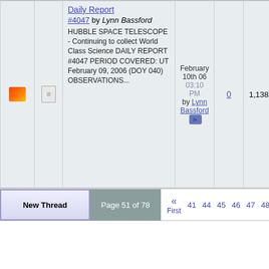|  |  | Title | Last Post | Replies | Views |
| --- | --- | --- | --- | --- | --- |
|  |  | Daily Report #4047 by Lynn Bassford — HUBBLE SPACE TELESCOPE - Continuing to collect World Class Science DAILY REPORT #4047 PERIOD COVERED: UT February 09, 2006 (DOY 040) OBSERVATIONS... | February 10th 06 03:10 PM by Lynn Bassford | 0 | 1,138 |
New Thread | Page 51 of 78 | « First | 41 44 45 46 47 48 49 50 51
Display Options
Showing threads 1001 to 1020 of 1544